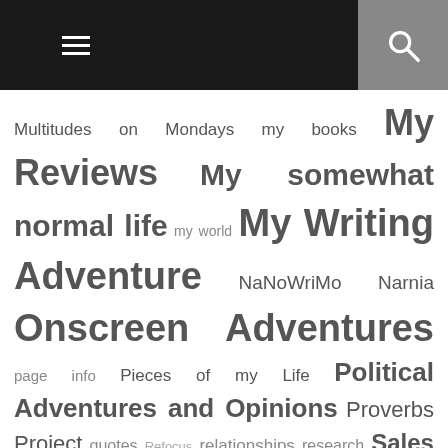navigation header with menu and search icons
Multitudes on Mondays my books My Reviews My somewhat normal life my world My Writing Adventure NaNoWriMo Narnia Onscreen Adventures page info Pieces of my Life Political Adventures and Opinions Proverbs Project quotes Refocus relationships research Sales Sarah's Childhood school Scott and Sarah short stories siblings singleness Snippet Saturday Spring stories Street Team summer Sunday Song tagged Tales of Taelis technology The Adventures of an